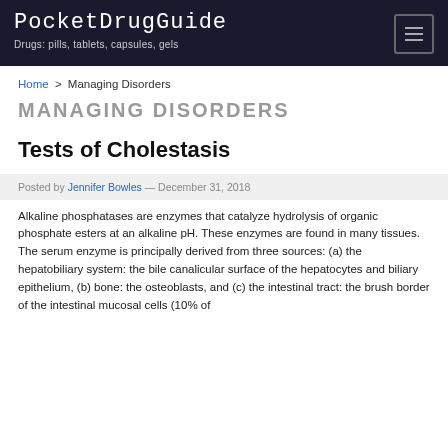PocketDrugGuide
Drugs: pills, tablets, capsules, gels
Home > Managing Disorders
MANAGING DISORDERS
Tests of Cholestasis
Posted by Jennifer Bowles — December 31, 2018
Alkaline phosphatases are enzymes that catalyze hydrolysis of organic phosphate esters at an alkaline pH. These enzymes are found in many tissues. The serum enzyme is principally derived from three sources: (a) the hepatobiliary system: the bile canalicular surface of the hepatocytes and biliary epithelium, (b) bone: the osteoblasts, and (c) the intestinal tract: the brush border of the intestinal mucosal cells (10% of